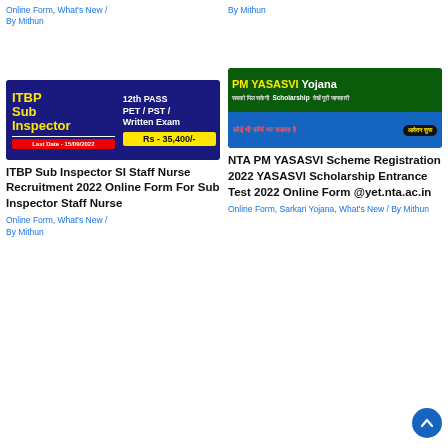Online Form, What's New / By Mithun
By Mithun
[Figure (illustration): ITBP Sub Inspector recruitment advertisement banner with dark blue background, yellow ITBP text, 12th PASS, PET/PST/Written Exam, Last Date 15/09/2022, Rs 35,400/-]
ITBP Sub Inspector SI Staff Nurse Recruitment 2022 Online Form For Sub Inspector Staff Nurse
Online Form, What's New / By Mithun
[Figure (illustration): PM YASASVI Yojana scholarship scheme advertisement banner with green and blue background, Hindi text, and Apply Now button]
NTA PM YASASVI Scheme Registration 2022 YASASVI Scholarship Entrance Test 2022 Online Form @yet.nta.ac.in
Online Form, Sarkari Yojana, What's New / By Mithun